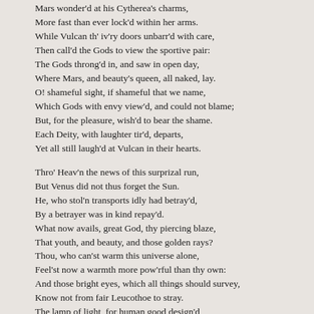Mars wonder'd at his Cytherea's charms,
More fast than ever lock'd within her arms.
While Vulcan th' iv'ry doors unbarr'd with care,
Then call'd the Gods to view the sportive pair:
The Gods throng'd in, and saw in open day,
Where Mars, and beauty's queen, all naked, lay.
O! shameful sight, if shameful that we name,
Which Gods with envy view'd, and could not blame;
But, for the pleasure, wish'd to bear the shame.
Each Deity, with laughter tir'd, departs,
Yet all still laugh'd at Vulcan in their hearts.
Thro' Heav'n the news of this surprizal run,
But Venus did not thus forget the Sun.
He, who stol'n transports idly had betray'd,
By a betrayer was in kind repay'd.
What now avails, great God, thy piercing blaze,
That youth, and beauty, and those golden rays?
Thou, who can'st warm this universe alone,
Feel'st now a warmth more pow'rful than thy own:
And those bright eyes, which all things should survey,
Know not from fair Leucothoe to stray.
The lamp of light, for human good design'd,